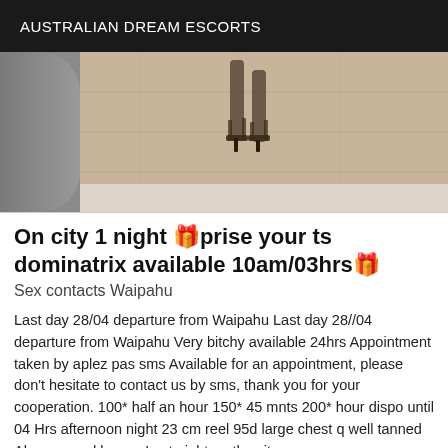AUSTRALIAN DREAM ESCORTS
[Figure (photo): Partial photo showing a grey sofa on the left and a person's feet/ankles in strappy high heels standing on a wooden floor, with a white baseboard visible in the background.]
On city 1 night 🎁prise your ts dominatrix available 10am/03hrs🎁
Sex contacts Waipahu
Last day 28/04 departure from Waipahu Last day 28//04 departure from Waipahu Very bitchy available 24hrs Appointment taken by aplez pas sms Available for an appointment, please don't hesitate to contact us by sms, thank you for your cooperation. 100* half an hour 150* 45 mnts 200* hour dispo until 04 Hrs afternoon night 23 cm reel 95d large chest q well tanned Always good humor Last night on the city